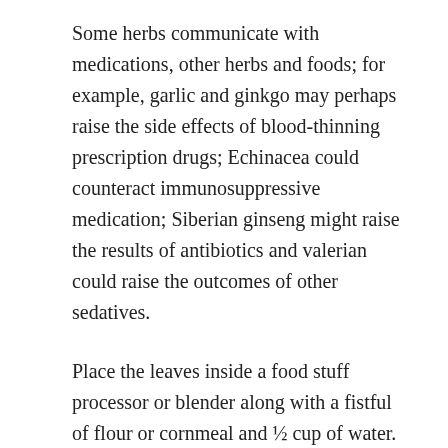Some herbs communicate with medications, other herbs and foods; for example, garlic and ginkgo may perhaps raise the side effects of blood-thinning prescription drugs; Echinacea could counteract immunosuppressive medication; Siberian ginseng might raise the results of antibiotics and valerian could raise the outcomes of other sedatives.
Place the leaves inside a food stuff processor or blender along with a fistful of flour or cornmeal and ½ cup of water.
Chickweed gel is often applied topically and it has a pleasing, cooling outcome that makes it great for use in hot temperature. It will also be employed to deal with minimal bug bites, rashes, or eczema.